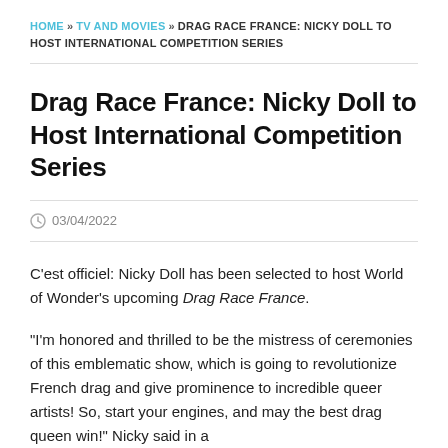HOME » TV AND MOVIES » DRAG RACE FRANCE: NICKY DOLL TO HOST INTERNATIONAL COMPETITION SERIES
Drag Race France: Nicky Doll to Host International Competition Series
03/04/2022
C'est officiel: Nicky Doll has been selected to host World of Wonder's upcoming Drag Race France.
“I’m honored and thrilled to be the mistress of ceremonies of this emblematic show, which is going to revolutionize French drag and give prominence to incredible queer artists! So, start your engines, and may the best drag queen  win!” Nicky said in a